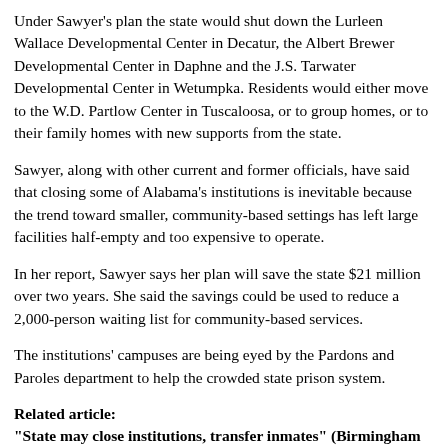Under Sawyer's plan the state would shut down the Lurleen Wallace Developmental Center in Decatur, the Albert Brewer Developmental Center in Daphne and the J.S. Tarwater Developmental Center in Wetumpka. Residents would either move to the W.D. Partlow Center in Tuscaloosa, or to group homes, or to their family homes with new supports from the state.
Sawyer, along with other current and former officials, have said that closing some of Alabama's institutions is inevitable because the trend toward smaller, community-based settings has left large facilities half-empty and too expensive to operate.
In her report, Sawyer says her plan will save the state $21 million over two years. She said the savings could be used to reduce a 2,000-person waiting list for community-based services.
The institutions' campuses are being eyed by the Pardons and Paroles department to help the crowded state prison system.
Related article:
"State may close institutions, transfer inmates" (Birmingham News)
http://www.InclusionDaily.com/news/03/red/0707a.htm
Back to top of page